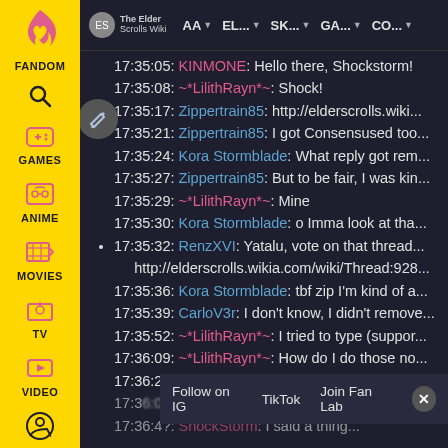[Figure (screenshot): Fandom left sidebar with logo, GAMES, ANIME, MOVIES, TV, VIDEO icons in yellow]
The Elder Scrolls Wiki navigation bar with AA, EL..., SK..., GA..., CO... menu items
17:35:05: KINMONE: Hello there, Shockstorm!
17:35:08: ~*LilithRayn*~: Shock!
17:35:17: Zippertrain85: http://elderscrolls.wiki...
17:35:21: Zippertrain85: I got Consensused too...
17:35:24: Kora Stormblade: What reply got rem...
17:35:27: Zippertrain85: But to be fair, I was kin...
17:35:29: ~*LilithRayn*~: Mine
17:35:30: Kora Stormblade: o Imma look at tha...
17:35:32: RenzXVI: Yatalu, vote on that thread... http://elderscrolls.wikia.com/wiki/Thread:928...
17:35:36: Kora Stormblade: tbf zip I'm kind of a...
17:35:39: CarloV3r: I don't know, I didn't remove...
17:35:52: ~*LilithRayn*~: I tried to type (suppor...
17:36:09: ~*LilithRayn*~: How do I do those no...
17:36:22: RenzXVI: {{Support}}
17:36:0?: ~*LilithRayn*~: Thanks!
17:36:4?: ShockStorm: I said a thing...
Follow on IG | TikTok | Join Fan Lab | X